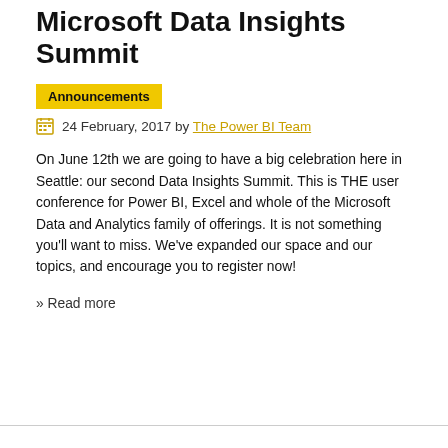Microsoft Data Insights Summit
Announcements
24 February, 2017 by The Power BI Team
On June 12th we are going to have a big celebration here in Seattle: our second Data Insights Summit. This is THE user conference for Power BI, Excel and whole of the Microsoft Data and Analytics family of offerings. It is not something you'll want to miss. We've expanded our space and our topics, and encourage you to register now!
» Read more